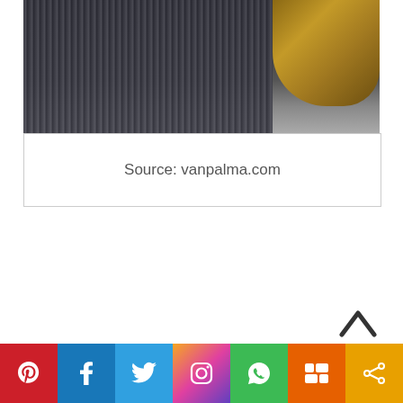[Figure (photo): Partial view of a person wearing dark pleated/ribbed clothing, with light brown/blonde hair visible in the upper right corner. Dark background.]
Source: vanpalma.com
[Figure (other): Back to top caret/chevron button]
[Figure (infographic): Social sharing bar with icons for Pinterest, Facebook, Twitter, Instagram, WhatsApp, Mix, and Share]